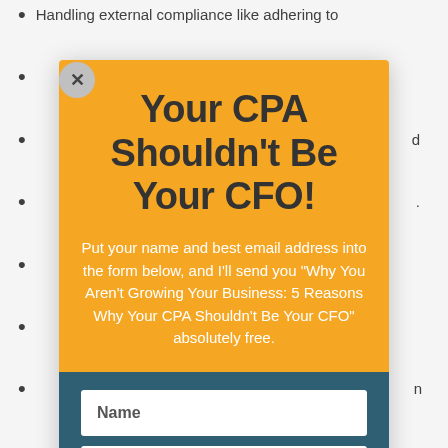Handling external compliance like adhering to
d
.
n
[Figure (screenshot): Modal popup with orange/yellow header showing 'Your CPA Shouldn't Be Your CFO!' title and teal form section with Name and Email fields]
Your CPA Shouldn't Be Your CFO!
Put your name and best email address into the form below, and I'll send you "Why You Aren't Growing Your Business: 5 Reasons Why Your CPA Shouldn't Be Your CFO" absolutely free.
Name
Email